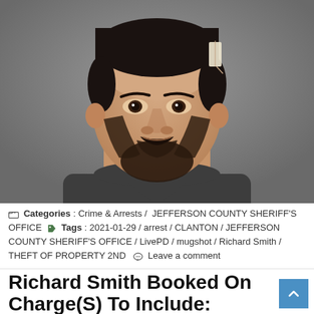[Figure (photo): Mugshot of Richard Smith, a young white male with dark beard and short dark hair, wearing a dark gray t-shirt with white undershirt, photographed against a gray background.]
Categories : Crime & Arrests / JEFFERSON COUNTY SHERIFF'S OFFICE   Tags : 2021-01-29 / arrest / CLANTON / JEFFERSON COUNTY SHERIFF'S OFFICE / LivePD / mugshot / Richard Smith / THEFT OF PROPERTY 2ND   Leave a comment
Richard Smith Booked On Charge(S) To Include: THEFT OF